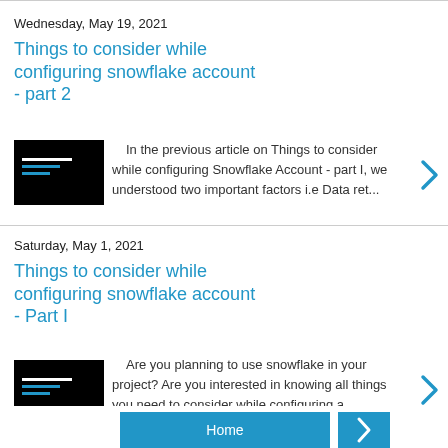Wednesday, May 19, 2021
Things to consider while configuring snowflake account - part 2
[Figure (screenshot): Thumbnail screenshot of snowflake account configuration interface]
In the previous article on Things to consider while configuring Snowflake Account - part I, we understood two important factors i.e Data ret...
Saturday, May 1, 2021
Things to consider while configuring snowflake account - Part I
[Figure (screenshot): Thumbnail screenshot of snowflake account configuration interface]
Are you planning to use snowflake in your project? Are you interested in knowing all things you need to consider while configuring a snowfla...